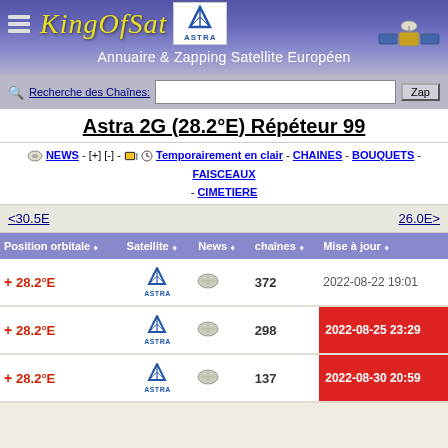KingOfSat — Annuaire & Zapping Satellite Européen
Recherche des Chaînes:
Astra 2G (28.2°E) Répéteur 99
NEWS - [+] [-] - Temporairement en clair - CHAINES - BOUQUETS - FAISCEAUX - CIMETIERE
<30.5E   26.0E>
| Position orbitale | Satellite | News | chaînes | Mise à jour |
| --- | --- | --- | --- | --- |
| 28.2°E | Astra 2E |  | 372 | 2022-08-22 19:01 |
| 28.2°E | Astra 2G |  | 298 | 2022-08-25 23:29 |
| 28.2°E | Astra 2F |  | 137 | 2022-08-30 20:59 |